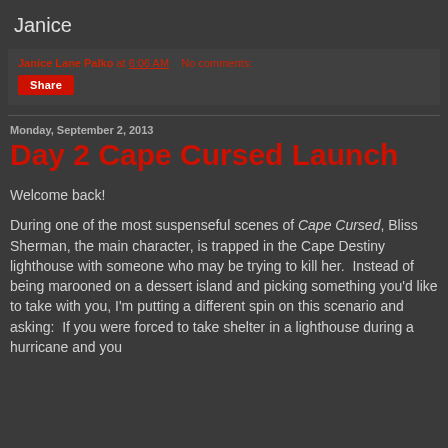Janice
Janice Lane Palko at 6:06 AM   No comments:
Share
Monday, September 2, 2013
Day 2 Cape Cursed Launch
Welcome back!
During one of the most suspenseful scenes of Cape Cursed, Bliss Sherman, the main character, is trapped in the Cape Destiny lighthouse with someone who may be trying to kill her.  Instead of being marooned on a dessert island and picking something you'd like to take with you, I'm putting a different spin on this scenario and asking:  If you were forced to take shelter in a lighthouse during a hurricane and you